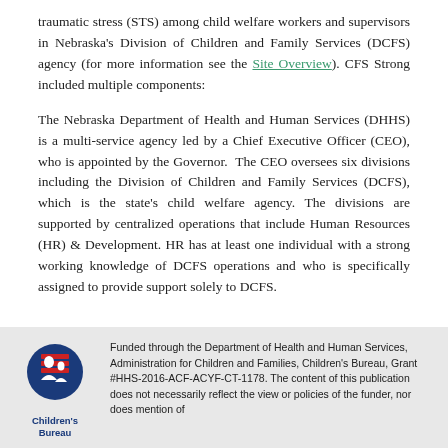traumatic stress (STS) among child welfare workers and supervisors in Nebraska's Division of Children and Family Services (DCFS) agency (for more information see the Site Overview). CFS Strong included multiple components:
The Nebraska Department of Health and Human Services (DHHS) is a multi-service agency led by a Chief Executive Officer (CEO), who is appointed by the Governor.  The CEO oversees six divisions including the Division of Children and Family Services (DCFS), which is the state's child welfare agency. The divisions are supported by centralized operations that include Human Resources (HR) & Development. HR has at least one individual with a strong working knowledge of DCFS operations and who is specifically assigned to provide support solely to DCFS.
[Figure (other): Pagination navigation showing page 1 (active, green), page 2, next, and last buttons]
[Figure (logo): Children's Bureau logo with red/blue icon and 'Children's Bureau' text below]
Funded through the Department of Health and Human Services, Administration for Children and Families, Children's Bureau, Grant #HHS-2016-ACF-ACYF-CT-1178. The content of this publication does not necessarily reflect the view or policies of the funder, nor does mention of